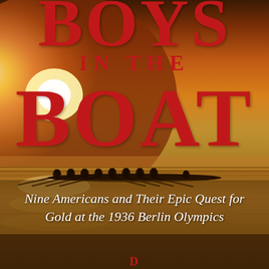[Figure (illustration): Book cover background showing a dramatic golden sunset over water with silhouettes of nine rowers in a long rowing shell on a calm reflective sea. Sky has warm orange and golden tones with a bright sun glow on the left.]
BOYS IN THE BOAT
Nine Americans and Their Epic Quest for Gold at the 1936 Berlin Olympics